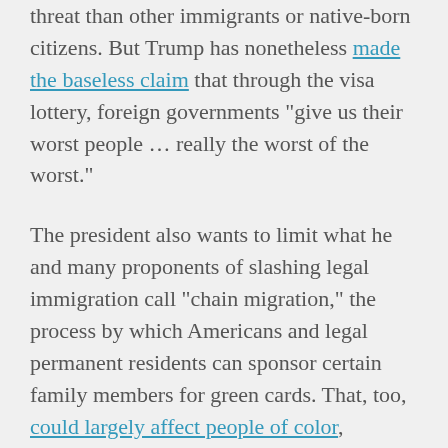threat than other immigrants or native-born citizens. But Trump has nonetheless made the baseless claim that through the visa lottery, foreign governments "give us their worst people … really the worst of the worst."
The president also wants to limit what he and many proponents of slashing legal immigration call "chain migration," the process by which Americans and legal permanent residents can sponsor certain family members for green cards. That, too, could largely affect people of color, because recent immigrants are more likely to come from Asian or Latin American countries.
For Trump's own Mar-a-Lago club in Florida, however, his business has reportedly requested hundreds of visas to bring in